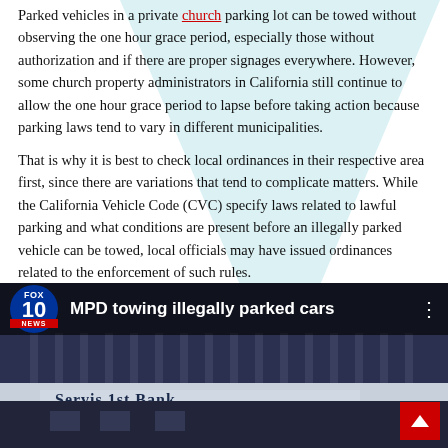Parked vehicles in a private church parking lot can be towed without observing the one hour grace period, especially those without authorization and if there are proper signages everywhere. However, some church property administrators in California still continue to allow the one hour grace period to lapse before taking action because parking laws tend to vary in different municipalities.
That is why it is best to check local ordinances in their respective area first, since there are variations that tend to complicate matters. While the California Vehicle Code (CVC) specify laws related to lawful parking and what conditions are present before an illegally parked vehicle can be towed, local officials may have issued ordinances related to the enforcement of such rules.
[Figure (screenshot): FOX 10 News video thumbnail showing a news segment titled 'MPD towing illegally parked cars' with a building facade showing 'Servis 1st Bank' sign in the background.]